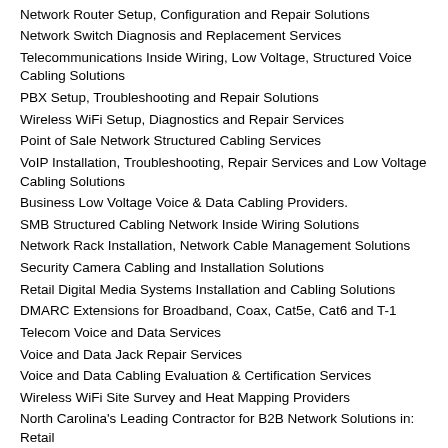Network Router Setup, Configuration and Repair Solutions
Network Switch Diagnosis and Replacement Services
Telecommunications Inside Wiring, Low Voltage, Structured Voice Cabling Solutions
PBX Setup, Troubleshooting and Repair Solutions
Wireless WiFi Setup, Diagnostics and Repair Services
Point of Sale Network Structured Cabling Services
VoIP Installation, Troubleshooting, Repair Services and Low Voltage Cabling Solutions
Business Low Voltage Voice & Data Cabling Providers.
SMB Structured Cabling Network Inside Wiring Solutions
Network Rack Installation, Network Cable Management Solutions
Security Camera Cabling and Installation Solutions
Retail Digital Media Systems Installation and Cabling Solutions
DMARC Extensions for Broadband, Coax, Cat5e, Cat6 and T-1
Telecom Voice and Data Services
Voice and Data Jack Repair Services
Voice and Data Cabling Evaluation & Certification Services
Wireless WiFi Site Survey and Heat Mapping Providers
North Carolina's Leading Contractor for B2B Network Solutions in: Retail
Hospitality
Industrial